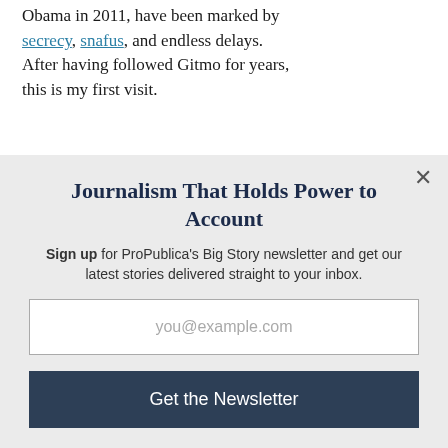Obama in 2011, have been marked by secrecy, snafus, and endless delays. After having followed Gitmo for years, this is my first visit.
Journalism That Holds Power to Account
Sign up for ProPublica's Big Story newsletter and get our latest stories delivered straight to your inbox.
you@example.com
Get the Newsletter
No thanks, I'm all set
This site is protected by reCAPTCHA and the Google Privacy Policy and Terms of Service apply.